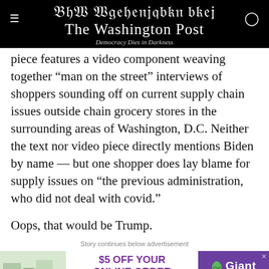The Washington Post — Democracy Dies in Darkness
piece features a video component weaving together “man on the street” interviews of shoppers sounding off on current supply chain issues outside chain grocery stores in the surrounding areas of Washington, D.C. Neither the text nor video piece directly mentions Biden by name — but one shopper does lay blame for supply issues on “the previous administration, who did not deal with covid.”
Oops, that would be Trump.
Story continues below advertisement
[Figure (other): Giant grocery store advertisement: $5 OFF YOUR ONLINE ORDER OF $50+ with grocery items image on left and Giant logo with SHOP NOW button on right]